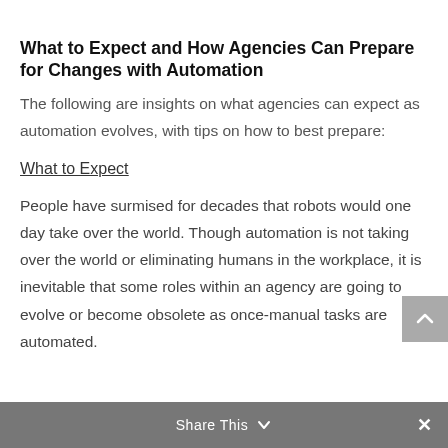What to Expect and How Agencies Can Prepare for Changes with Automation
The following are insights on what agencies can expect as automation evolves, with tips on how to best prepare:
What to Expect
People have surmised for decades that robots would one day take over the world. Though automation is not taking over the world or eliminating humans in the workplace, it is inevitable that some roles within an agency are going to evolve or become obsolete as once-manual tasks are automated.
Share This ∨  ×